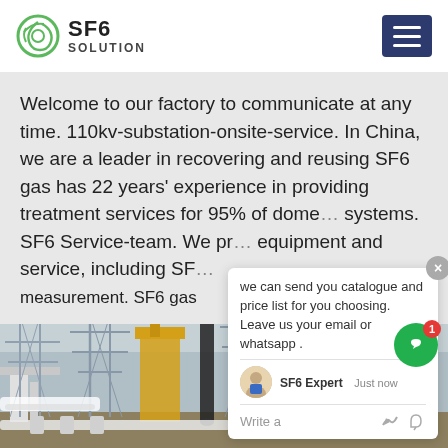SF6 SOLUTION
Welcome to our factory to communicate at any time. 110kv-substation-onsite-service. In China, we are a leader in recovering and reusing SF6 gas has 22 years' experience in providing treatment services for 95% of domestic systems. SF6 Service-team. We provide equipment and service, including SF6 measurement. SF6 gas
[Figure (photo): Electrical substation with high-voltage transmission towers, cranes and equipment at a 110kv substation onsite service location in China]
[Figure (screenshot): Chat popup widget with SF6 Expert agent offering to send catalogue and price list, asking user to leave email or whatsapp]